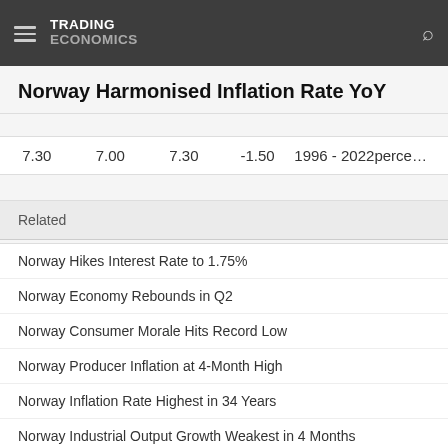TRADING ECONOMICS
Norway Harmonised Inflation Rate YoY
| 7.30 | 7.00 | 7.30 | -1.50 | 1996 - 2022 | percent |
Related
Norway Hikes Interest Rate to 1.75%
Norway Economy Rebounds in Q2
Norway Consumer Morale Hits Record Low
Norway Producer Inflation at 4-Month High
Norway Inflation Rate Highest in 34 Years
Norway Industrial Output Growth Weakest in 4 Months
Norway Retail Sales Unchanged in June
Norway Jobless Rate Stays at 9-1/2-Year Low
Norway Business Morale Falls to Near 2-Year Low
Norway Domestic Loan Debt Growth Stays at 16-Month